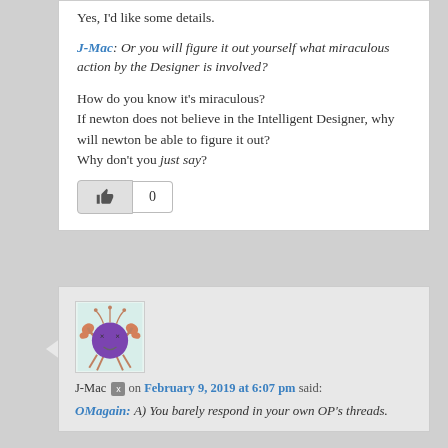Yes, I'd like some details.
J-Mac: Or you will figure it out yourself what miraculous action by the Designer is involved?
How do you know it's miraculous? If newton does not believe in the Intelligent Designer, why will newton be able to figure it out? Why don't you just say?
[Figure (illustration): A cartoon avatar of a purple-bodied crab-like creature with X eyes and a smile, used as a user profile picture for J-Mac]
J-Mac on February 9, 2019 at 6:07 pm said:
OMagain: A) You barely respond in your own OP's threads.